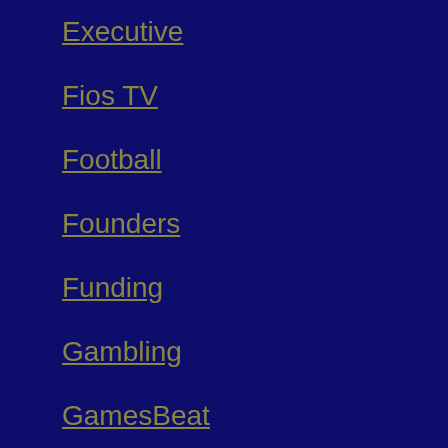Executive
Fios TV
Football
Founders
Funding
Gambling
GamesBeat
Gaming
Google
Growth